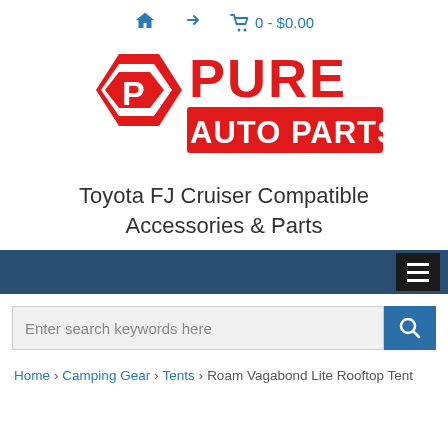🏠 → 🛒 0 - $0.00
[Figure (logo): Pure Auto Parts logo — red hexagon badge with 'P' letter mark on the left, and 'PURE AUTO PARTS' text in red on the right]
Toyota FJ Cruiser Compatible Accessories & Parts
[Figure (screenshot): Dark blue navigation bar with hamburger menu button on the right]
[Figure (screenshot): Search bar with 'Enter search keywords here' placeholder and a blue search button with magnifying glass icon]
Home > Camping Gear > Tents > Roam Vagabond Lite Rooftop Tent